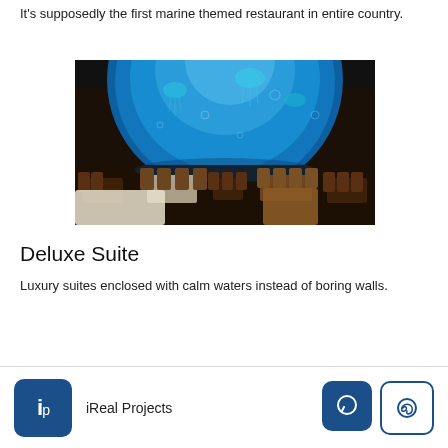It's supposedly the first marine themed restaurant in entire country.
[Figure (photo): Interior of a marine-themed restaurant with a large curved aquarium wall illuminated in blue, with jellyfish visible, and dining tables and chairs in the foreground.]
Deluxe Suite
Luxury suites enclosed with calm waters instead of boring walls.
iReal Projects